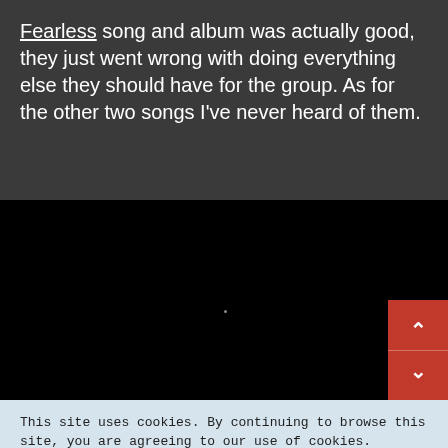Fearless song and album was actually good, they just went wrong with doing everything else they should have for the group. As for the other two songs I've never heard of them.
[Figure (other): Black rectangle area representing a media embed or video player, with a small dot in the center and red navigation scroll buttons (up/down chevrons) at the bottom right.]
This site uses cookies. By continuing to browse this site, you are agreeing to our use of cookies.